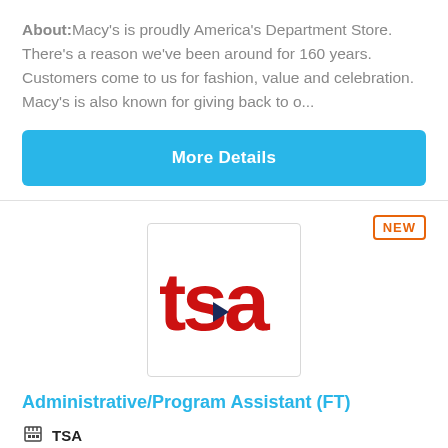About:Macy's is proudly America's Department Store. There's a reason we've been around for 160 years. Customers come to us for fashion, value and celebration. Macy's is also known for giving back to o...
More Details
[Figure (logo): TSA logo in red letters on white background]
Administrative/Program Assistant (FT)
TSA
Ashburn, VA, US